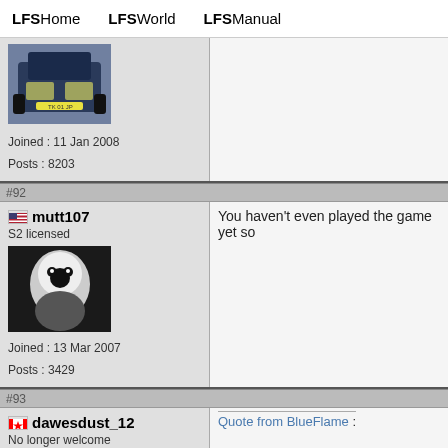LFSHome   LFSWorld   LFSManual
Joined : 11 Jan 2008
Posts : 8203
#92
mutt107
S2 licensed
Joined : 13 Mar 2007
Posts : 3429
You haven't even played the game yet so
#93
dawesdust_12
No longer welcome
Quote from BlueFlame :